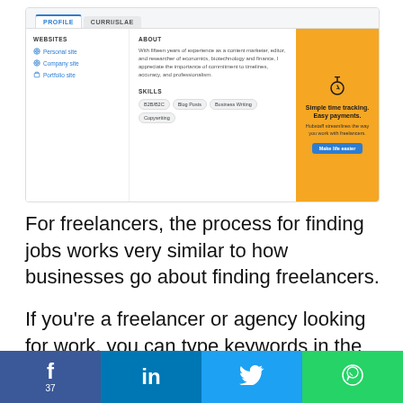[Figure (screenshot): Screenshot of a freelancer profile page showing PROFILE and CURRI/SLAE tabs, with WEBSITES section listing Personal site, Company site, Portfolio site; ABOUT section with text about fifteen years of experience as a content marketer, editor, and researcher of economics, biotechnology and finance; SKILLS section showing B2B/B2C, Blog Posts, Business Writing, Copywriting tags; and a yellow advertisement panel for 'Simple time tracking. Easy payments.' by Hubstaff with a 'Make life easier' button.]
For freelancers, the process for finding jobs works very similar to how businesses go about finding freelancers.
If you're a freelancer or agency looking for work, you can type keywords in the search bar based on the types of services you offer. All job opportunities related to your search query will